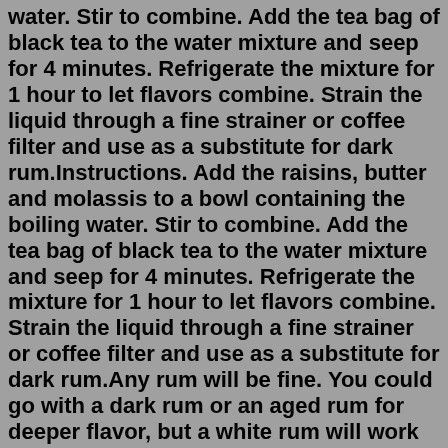water. Stir to combine. Add the tea bag of black tea to the water mixture and seep for 4 minutes. Refrigerate the mixture for 1 hour to let flavors combine. Strain the liquid through a fine strainer or coffee filter and use as a substitute for dark rum.Instructions. Add the raisins, butter and molassis to a bowl containing the boiling water. Stir to combine. Add the tea bag of black tea to the water mixture and seep for 4 minutes. Refrigerate the mixture for 1 hour to let flavors combine. Strain the liquid through a fine strainer or coffee filter and use as a substitute for dark rum.Any rum will be fine. You could go with a dark rum or an aged rum for deeper flavor, but a white rum will work perfectly. 3. level 2. pyrokid90. Op · 2 yr. ago. awesome, i was hoping this was secretly the answer and that most of the flavor depended on the coffee choice, because THAT i have on lock. 2. level 1. Jun 06, 2022 · Directions. Beat the cream and sugar in a medium bowl until stiff, then beat in the cream cheese. In a shallow bowl, stir the espresso and rum to combine. Working quickly, dip the Teddy Grahams